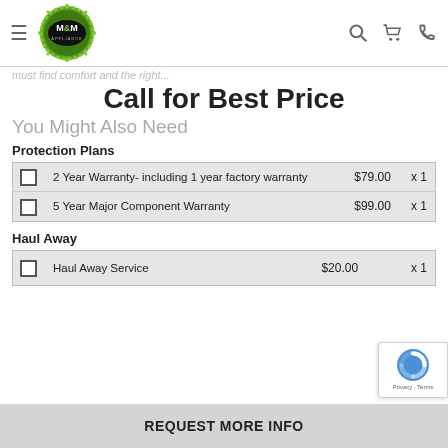[Figure (logo): M&M Appliance logo - circular green gear border with black oval center containing M&M APPLIANCE text]
must find comfort and the right...
Call for Best Price
You Might Also Need
Protection Plans
|  | Plan | Price | Qty |
| --- | --- | --- | --- |
| ☐ | 2 Year Warranty- including 1 year factory warranty | $79.00 | x 1 |
| ☐ | 5 Year Major Component Warranty | $99.00 | x 1 |
Haul Away
|  | Service | Price | Qty |
| --- | --- | --- | --- |
| ☐ | Haul Away Service | $20.00 | x 1 |
REQUEST MORE INFO